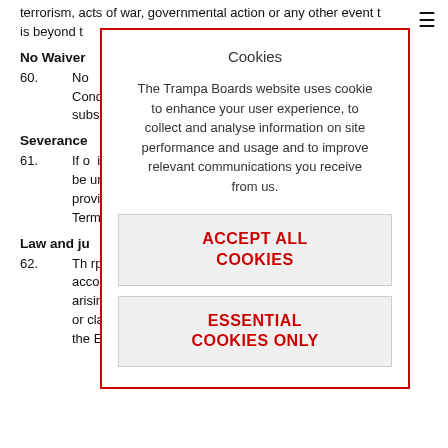terrorism, acts of war, governmental action or any other event that is beyond the control of the party in question.
No Waiver
60.    No ... and Conditions ... any subsequent...
Severance
61.    If any ... is found to be unlawful ... those provisions shall ... er of these Terms and ... orceable).
Law and ju...
62.    Th... rpreted according t... putes arising und... d disputes or claims) s... of the English...
[Figure (other): Cookie consent modal overlay with title 'Cookies', body text explaining cookie usage, and two buttons: 'ACCEPT ALL COOKIES' and 'ESSENTIAL COOKIES ONLY']